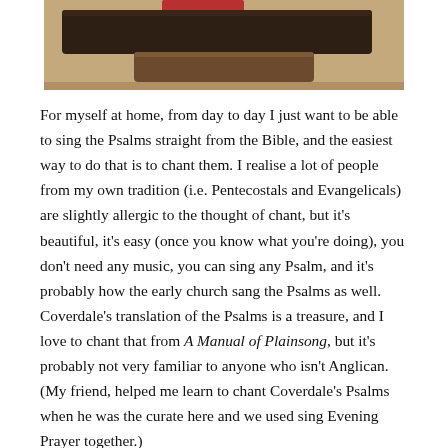[Figure (photo): Photograph of books/bibles stacked on a surface, showing spines including a red book, dark brown and medium brown volumes.]
For myself at home, from day to day I just want to be able to sing the Psalms straight from the Bible, and the easiest way to do that is to chant them. I realise a lot of people from my own tradition (i.e. Pentecostals and Evangelicals) are slightly allergic to the thought of chant, but it's beautiful, it's easy (once you know what you're doing), you don't need any music, you can sing any Psalm, and it's probably how the early church sang the Psalms as well. Coverdale's translation of the Psalms is a treasure, and I love to chant that from A Manual of Plainsong, but it's probably not very familiar to anyone who isn't Anglican. (My friend, helped me learn to chant Coverdale's Psalms when he was the curate here and we used sing Evening Prayer together.)